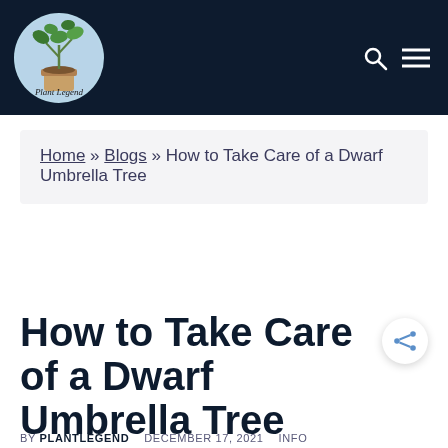Plant Legend — navigation header with logo, search icon, and menu icon
Home » Blogs » How to Take Care of a Dwarf Umbrella Tree
How to Take Care of a Dwarf Umbrella Tree
BY PLANTLEGEND   DECEMBER 17, 2021   INFO